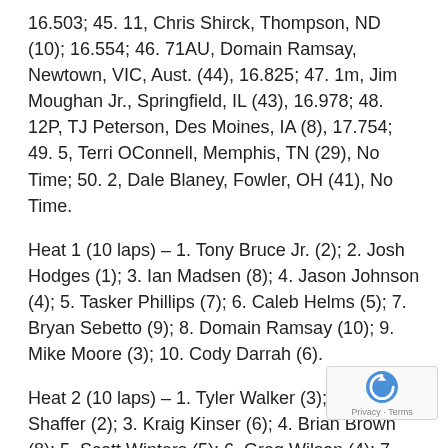16.503; 45. 11, Chris Shirck, Thompson, ND (10); 16.554; 46. 71AU, Domain Ramsay, Newtown, VIC, Aust. (44), 16.825; 47. 1m, Jim Moughan Jr., Springfield, IL (43), 16.978; 48. 12P, TJ Peterson, Des Moines, IA (8), 17.754; 49. 5, Terri OConnell, Memphis, TN (29), No Time; 50. 2, Dale Blaney, Fowler, OH (41), No Time.
Heat 1 (10 laps) – 1. Tony Bruce Jr. (2); 2. Josh Hodges (1); 3. Ian Madsen (8); 4. Jason Johnson (4); 5. Tasker Phillips (7); 6. Caleb Helms (5); 7. Bryan Sebetto (9); 8. Domain Ramsay (10); 9. Mike Moore (3); 10. Cody Darrah (6).
Heat 2 (10 laps) – 1. Tyler Walker (3); 2. Tim Shaffer (2); 3. Kraig Kinser (6); 4. Brian Brown (8); 5. Scott Winters (5); 6. Greg Wilson (4); 7. Geoff Ensign (8. Terry McCarl (7); 9. Geoff Dodge (9); 10. Jim Moughan Jr. (10).